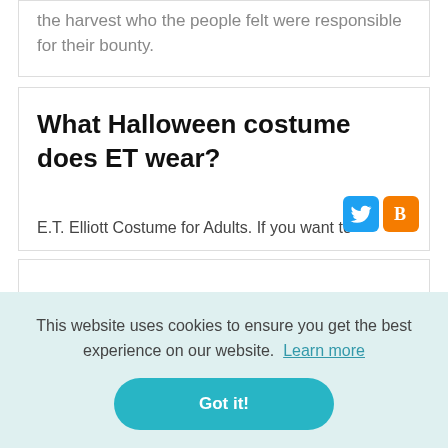the harvest who the people felt were responsible for their bounty.
What Halloween costume does ET wear?
[Figure (other): Twitter and Blogger social share icon buttons]
E.T. Elliott Costume for Adults. If you want to
This website uses cookies to ensure you get the best experience on our website. Learn more
Got it!